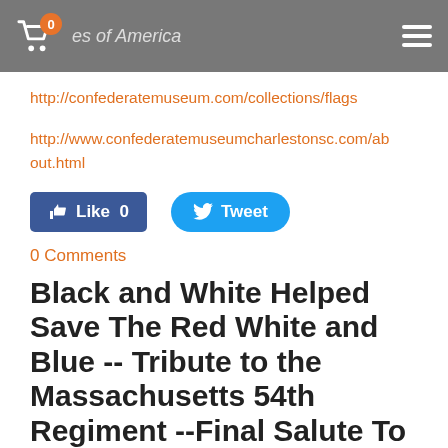0  ...es of America
http://confederatemuseum.com/collections/flags
http://www.confederatemuseumcharlestonsc.com/about.html
[Figure (screenshot): Facebook Like button showing 'Like 0' and Twitter Tweet button]
0 Comments
Black and White Helped Save The Red White and Blue -- Tribute to the Massachusetts 54th Regiment --Final Salute To Real Memorial Day Heroes